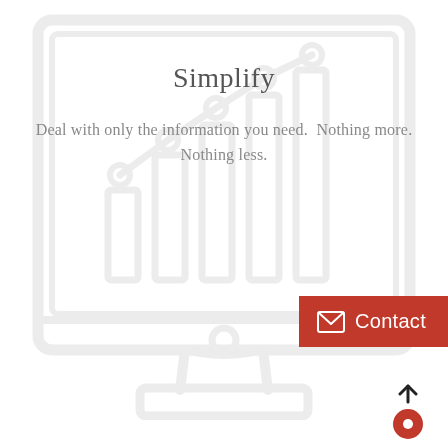[Figure (illustration): Light gray outline illustration of a desktop monitor displaying a bar chart with a line graph overlaid on top. The monitor has a stand and base. The illustration is faded/ghosted in the background.]
Simplify
Deal with only the information you need.  Nothing more. Nothing less.
[Figure (other): Red Contact button with white envelope icon on the right side of the page]
[Figure (other): Scroll-to-top icon: upward arrow above a red circle with a small white circle inside, bottom right corner]